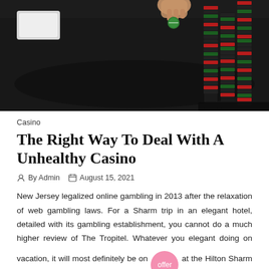[Figure (photo): Casino table photo showing poker chips stacked on the right and a white card tray on the left, on a dark green/black felt table surface with a hand visible]
Casino
The Right Way To Deal With A Unhealthy Casino
By Admin   August 15, 2021
New Jersey legalized online gambling in 2013 after the relaxation of web gambling laws. For a Sharm trip in an elegant hotel, detailed with its gambling establishment, you cannot do a much higher review of The Tropitel. Whatever you elegant doing on vacation, it will most definitely be on offer at the Hilton Sharm Goals. The primary issue that most